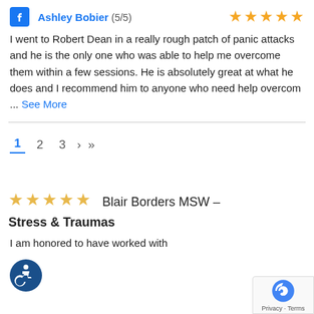Ashley Bobier (5/5) — Facebook reviewer with 5-star rating
I went to Robert Dean in a really rough patch of panic attacks and he is the only one who was able to help me overcome them within a few sessions. He is absolutely great at what he does and I recommend him to anyone who need help overcom ... See More
Pagination: 1 (active) 2 3 › »
Blair Borders MSW – Stress & Traumas — 5 star rating
I am honored to have worked with